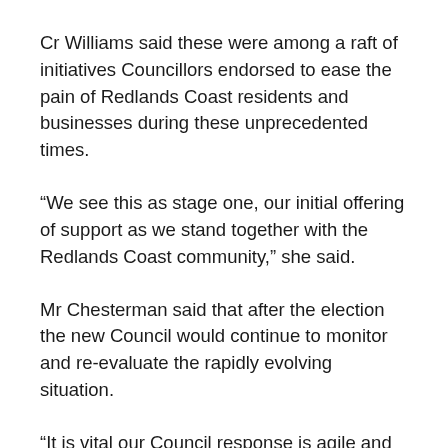Cr Williams said these were among a raft of initiatives Councillors endorsed to ease the pain of Redlands Coast residents and businesses during these unprecedented times.
“We see this as stage one, our initial offering of support as we stand together with the Redlands Coast community,” she said.
Mr Chesterman said that after the election the new Council would continue to monitor and re-evaluate the rapidly evolving situation.
“It is vital our Council response is agile and flexible as well as empathetic and compassionate,” he said.
Access Council’s Financial Hardship Policy on Council’s website .